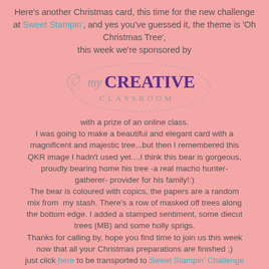Here's another Christmas card, this time for the new challenge at Sweet Stampin', and yes you've guessed it, the theme is 'Oh Christmas Tree', this week we're sponsored by
[Figure (logo): my CREATIVE CLASSROOM logo with dotted oval border and decorative swirl]
with a prize of an online class. I was going to make a beautiful and elegant card with a magnificent and majestic tree...but then I remembered this QKR image I hadn't used yet....I think this bear is gorgeous, proudly bearing home his tree -a real macho hunter-gatherer- provider for his family!:) The bear is coloured with copics, the papers are a random mix from my stash. There's a row of masked off trees along the bottom edge. I added a stamped sentiment, some diecut trees (MB) and some holly sprigs. Thanks for calling by, hope you find time to join us this week now that all your Christmas preparations are finished ;) just click here to be transported to Sweet Stampin' Challenge